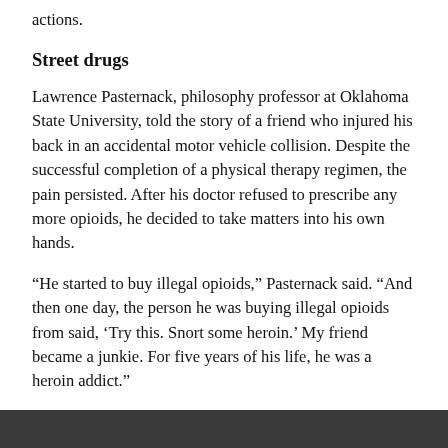actions.
Street drugs
Lawrence Pasternack, philosophy professor at Oklahoma State University, told the story of a friend who injured his back in an accidental motor vehicle collision. Despite the successful completion of a physical therapy regimen, the pain persisted. After his doctor refused to prescribe any more opioids, he decided to take matters into his own hands.
“He started to buy illegal opioids,” Pasternack said. “And then one day, the person he was buying illegal opioids from said, ‘Try this. Snort some heroin.’ My friend became a junkie. For five years of his life, he was a heroin addict.”
It is a story that is becoming all too familiar; patients with